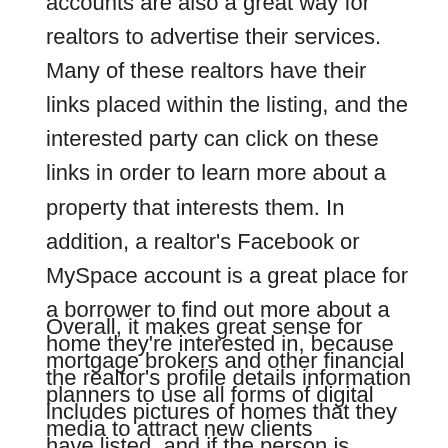accounts are also a great way for realtors to advertise their services. Many of these realtors have their links placed within the listing, and the interested party can click on these links in order to learn more about a property that interests them. In addition, a realtor's Facebook or MySpace account is a great place for a borrower to find out more about a home they're interested in, because the realtor's profile details information includes pictures of homes that they have listed, and if the person is looking for a particular style of home, they will see photos that match what they're looking for.
Overall, it makes great sense for mortgage brokers and other financial planners to use all forms of digital media to attract new clients interested in what they have to offer. There are some professionals who believe the trend will harm traditional lending institutions, however. Many of